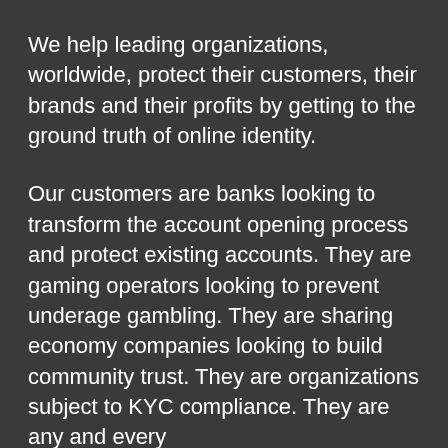We help leading organizations, worldwide, protect their customers, their brands and their profits by getting to the ground truth of online identity.
Our customers are banks looking to transform the account opening process and protect existing accounts. They are gaming operators looking to prevent underage gambling. They are sharing economy companies looking to build community trust. They are organizations subject to KYC compliance. They are any and every